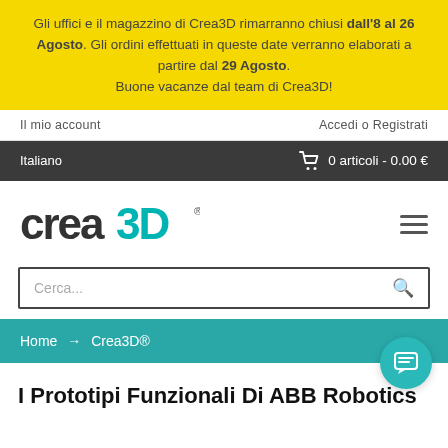Gli uffici e il magazzino di Crea3D rimarranno chiusi dall'8 al 26 Agosto. Gli ordini effettuati in queste date verranno elaborati a partire dal 29 Agosto. Buone vacanze dal team di Crea3D!
Il mio account
Accedi o Registrati
Italiano
0 articoli - 0.00 €
[Figure (logo): Crea3D logo with stylized text in dark grey and cyan color]
Cerca...
Home → Crea3D®
I Prototipi Funzionali Di ABB Robotics